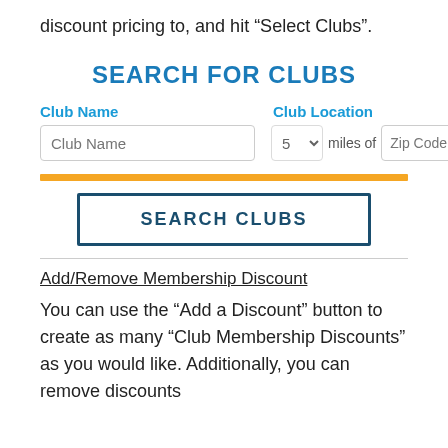discount pricing to, and hit “Select Clubs”.
SEARCH FOR CLUBS
[Figure (screenshot): Search form with fields: Club Name text input, and Club Location with miles dropdown (5) and Zip Code input, an orange divider bar, and a SEARCH CLUBS button.]
Add/Remove Membership Discount
You can use the “Add a Discount” button to create as many “Club Membership Discounts” as you would like. Additionally, you can remove discounts